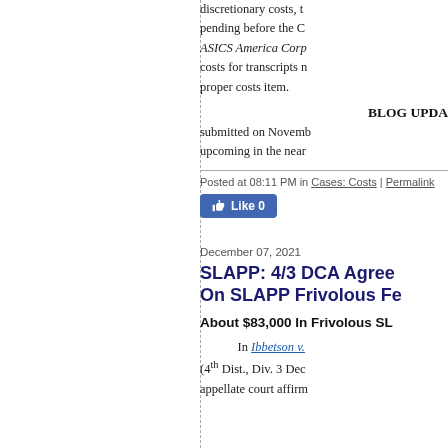discretionary costs, pending before the C... ASICS America Corp... costs for transcripts m... proper costs item.
BLOG UPDA...
submitted on Novemb... upcoming in the near...
Posted at 08:11 PM in Cases: Costs | Permalink
Like 0
December 07, 2021
SLAPP: 4/3 DCA Agree... On SLAPP Frivolous Fe...
About $83,000 In Frivolous SL...
In Ibbetson v. (4th Dist., Div. 3 Dec... appellate court affirm...